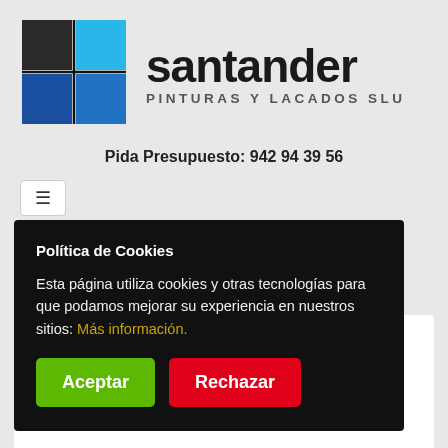[Figure (logo): Santander Pinturas y Lacados SLU logo with four colored squares (black, cyan, dark blue, blue) arranged in a 2x2 grid, followed by the brand name 'santander' in large bold text and 'PINTURAS Y LACADOS SLU' as subtitle]
Pida Presupuesto: 942 94 39 56
[Figure (screenshot): Navigation hamburger menu button]
Política de Cookies
Esta página utiliza cookies y otras tecnologías para que podamos mejorar su experiencia en nuestros sitios: Más información.
Aceptar
Rechazar
ectetur adipisicing elit, sed do eiusmod tempor incididunt ut labore et dolore magna aliqua.